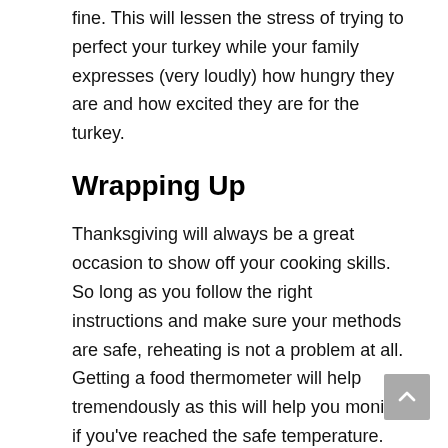fine. This will lessen the stress of trying to perfect your turkey while your family expresses (very loudly) how hungry they are and how excited they are for the turkey.
Wrapping Up
Thanksgiving will always be a great occasion to show off your cooking skills. So long as you follow the right instructions and make sure your methods are safe, reheating is not a problem at all. Getting a food thermometer will help tremendously as this will help you monitor if you've reached the safe temperature.